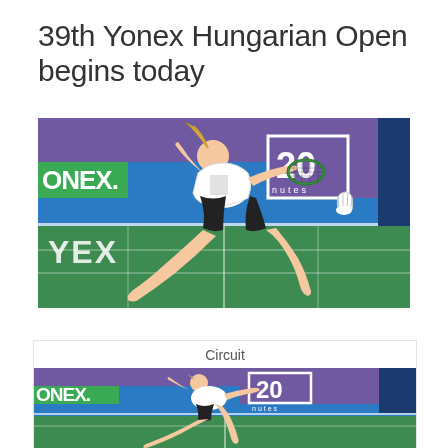39th Yonex Hungarian Open begins today
[Figure (photo): Female badminton player lunging to return a shuttlecock on a green court, with ONEX and 20 minutes sponsor banners in the background]
Circuit
[Figure (photo): Second photo of same or similar female badminton player in action on the court, with ONEX and 20 minutes banners visible]